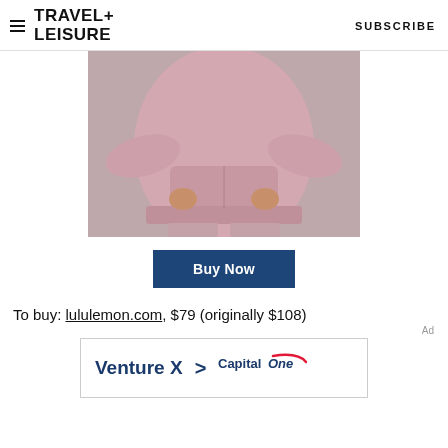TRAVEL+ LEISURE   SUBSCRIBE
[Figure (photo): Person wearing a pink hoodie sweatshirt and pink pants, hands in kangaroo pocket, light grey background]
Buy Now
To buy: lululemon.com, $79 (originally $108)
[Figure (other): Advertisement banner: Venture X > Capital One]